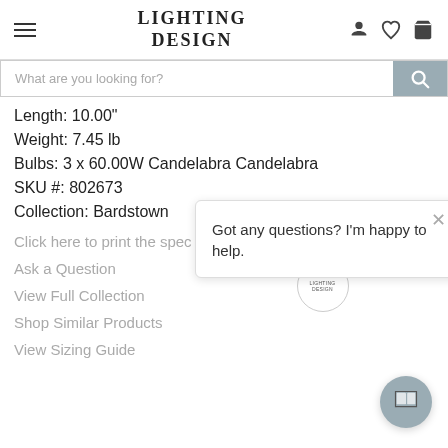LIGHTING DESIGN
What are you looking for?
Length: 10.00"
Weight: 7.45 lb
Bulbs: 3 x 60.00W Candelabra Candelabra
SKU #: 802673
Collection: Bardstown
Click here to print the spec
Ask a Question
View Full Collection
Shop Similar Products
View Sizing Guide
Got any questions? I'm happy to help.